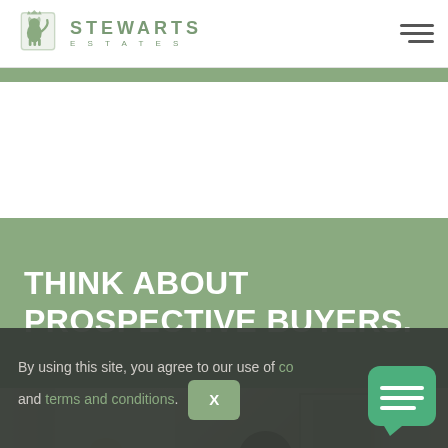[Figure (logo): Stewarts Estates logo with heraldic lion emblem and text 'STEWARTS ESTATES']
[Figure (photo): Interior room photo showing curtains, lamp, fireplace, and figure in a bright living space]
THINK ABOUT PROSPECTIVE BUYERS.
By using this site, you agree to our use of cookies and terms and conditions.